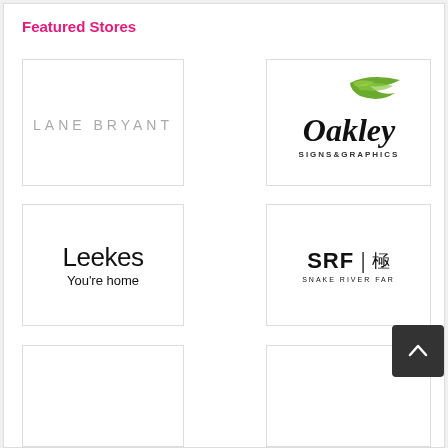Featured Stores
[Figure (logo): Lane Bryant logo — spaced serif/sans text 'LANE BRYANT' in grey]
[Figure (logo): Oakley Signs & Graphics logo — script 'Oakley' with green leaf graphic, 'SIGNS & GRAPHICS' below]
[Figure (logo): Leekes logo — 'Leekes' in thin black sans with 'You're home' tagline]
[Figure (logo): Snake River Farms / SRF logo — bold 'SRF' with Chinese character, 'SNAKE RIVER FARMS' text below]
[Figure (logo): Partial logo card, bottom left]
[Figure (logo): Partial logo card, bottom right]